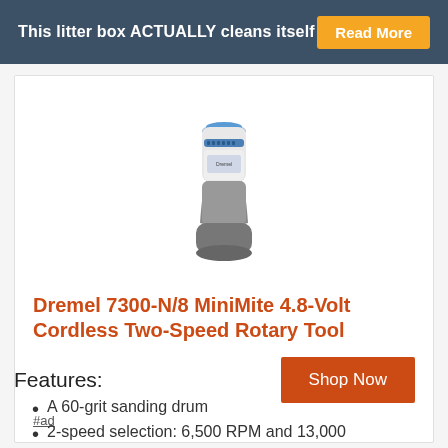This litter box ACTUALLY cleans itself Read More
[Figure (photo): Dremel 7300-N/8 MiniMite cordless rotary tool product image, white and grey body with blue accents]
Dremel 7300-N/8 MiniMite 4.8-Volt Cordless Two-Speed Rotary Tool
Shop Now
#ad
Features:
A 60-grit sanding drum
2-speed selection: 6,500 RPM and 13,000